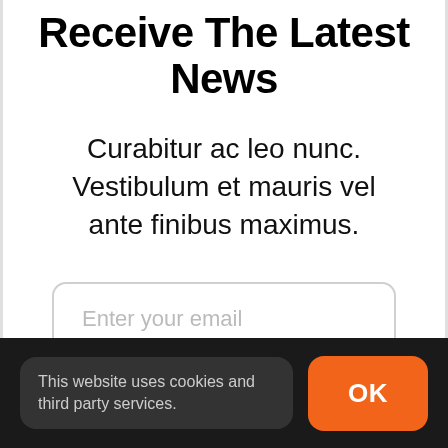Receive The Latest News
Curabitur ac leo nunc. Vestibulum et mauris vel ante finibus maximus.
Enter your email
This website uses cookies and third party services.
OK